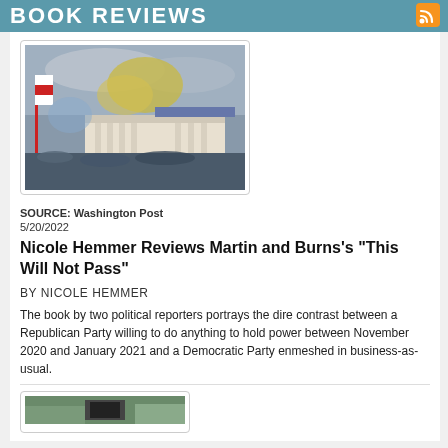BOOK REVIEWS
[Figure (photo): Crowd scene at the US Capitol building with smoke and flags during January 6, 2021 events]
SOURCE: Washington Post
5/20/2022
Nicole Hemmer Reviews Martin and Burns's "This Will Not Pass"
BY NICOLE HEMMER
The book by two political reporters portrays the dire contrast between a Republican Party willing to do anything to hold power between November 2020 and January 2021 and a Democratic Party enmeshed in business-as-usual.
[Figure (photo): Partial view of another book review image at bottom of page]